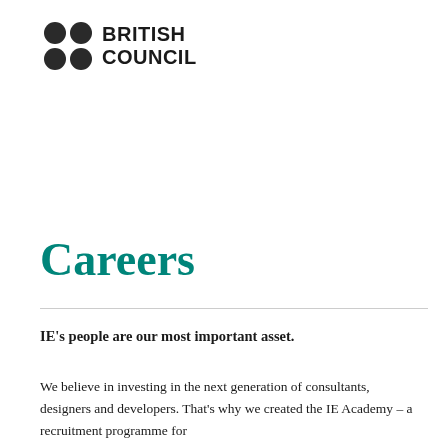[Figure (logo): British Council logo: four dark circles in a 2x2 grid followed by the text 'BRITISH COUNCIL' in bold sans-serif]
Careers
IE's people are our most important asset.
We believe in investing in the next generation of consultants, designers and developers. That's why we created the IE Academy – a recruitment programme for